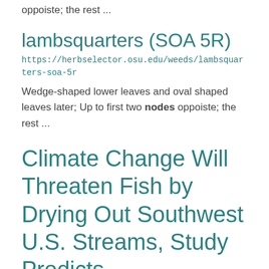oppoiste; the rest ...
lambsquarters (SOA 5R)
https://herbselector.osu.edu/weeds/lambsquarters-soa-5r
Wedge-shaped lower leaves and oval shaped leaves later; Up to first two nodes oppoiste; the rest ...
Climate Change Will Threaten Fish by Drying Out Southwest U.S. Streams, Study Predicts
https://senr.osu.edu/news/climate-change-will-threaten-fish-drying-out-southwest-us-streams-study-predicts
pieces all linked to each other, with nodes